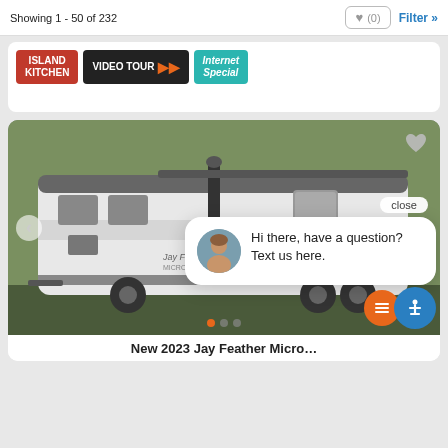Showing 1 - 50 of 232
[Figure (screenshot): Badge row with three promotional badges: ISLAND KITCHEN (red), VIDEO TOUR with play arrows (black), Internet Special (teal italic)]
[Figure (photo): RV travel trailer (Jay Feather Micro) parked outdoors, side view showing white and dark gray striped exterior with awning]
Hi there, have a question? Text us here.
close
New 2023 Jay Feather Micro...